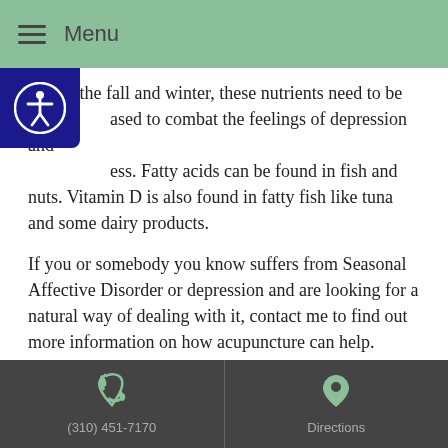Menu
during the fall and winter, these nutrients need to be increased to combat the feelings of depression and sadness. Fatty acids can be found in fish and nuts. Vitamin D is also found in fatty fish like tuna and some dairy products.
If you or somebody you know suffers from Seasonal Affective Disorder or depression and are looking for a natural way of dealing with it, contact me to find out more information on how acupuncture can help.
This article was posted in Acupuncture, Depression, Traditional Chinese Medicine and tagged SAD, seasonal affective disorder, tcm. Bookmark the permalink. Follow comments with the RSS feed for this post. Both comments and trackbacks are closed.
(310) 451-7170 | Directions